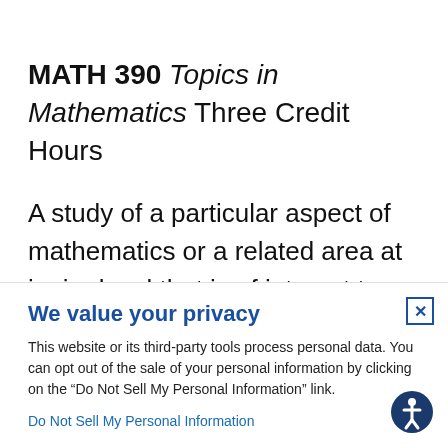MATH 390 Topics in Mathematics Three Credit Hours
A study of a particular aspect of mathematics or a related area at junior level that is of interest to both mathematics major and other majors, but
We value your privacy
This website or its third-party tools process personal data. You can opt out of the sale of your personal information by clicking on the “Do Not Sell My Personal Information” link.
Do Not Sell My Personal Information